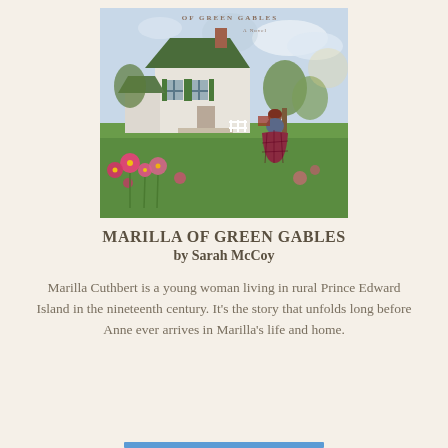[Figure (illustration): Book cover of 'Marilla of Green Gables' by Sarah McCoy — a novel. Shows a woman in a Victorian-era plaid dress standing on a green lawn in front of a white farmhouse with green shutters and green roof, with pink cosmos flowers in the foreground and trees in the background.]
MARILLA OF GREEN GABLES by Sarah McCoy
Marilla Cuthbert is a young woman living in rural Prince Edward Island in the nineteenth century. It's the story that unfolds long before Anne ever arrives in Marilla's life and home.